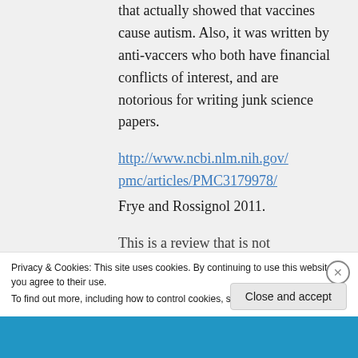that actually showed that vaccines cause autism. Also, it was written by anti-vaccers who both have financial conflicts of interest, and are notorious for writing junk science papers.
http://www.ncbi.nlm.nih.gov/pmc/articles/PMC3179978/ Frye and Rossignol 2011.
This is a review that is not
Privacy & Cookies: This site uses cookies. By continuing to use this website, you agree to their use.
To find out more, including how to control cookies, see here: Cookie Policy